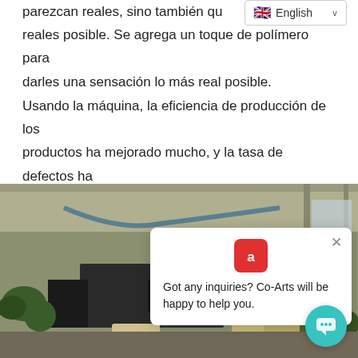parezcan reales, sino también qu reales posible. Se agrega un toque de polímero para darles una sensación lo más real posible.
Usando la máquina, la eficiencia de producción de los productos ha mejorado mucho, y la tasa de defectos ha disminuido mucho, y puede satisfacer mejor las necesidades de los clientes.
[Figure (photo): Factory floor showing a worker in black clothing operating machinery surrounded by artificial plants and bags of materials. A chat popup overlay reads 'Got any inquiries? Co-Arts will be happy to help you.' with a Co-Arts logo icon.]